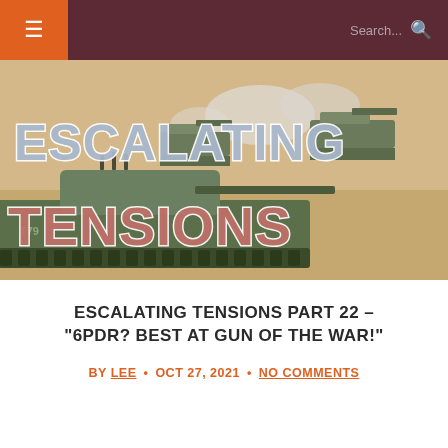≡  Search...
[Figure (illustration): Military tank battle scene with smoke and soldiers in background. Large bold text overlay reads 'ESCALATING TENSIONS' in blue-grey and red tones with white stroke.]
ESCALATING TENSIONS PART 22 – "6PDR? BEST AT GUN OF THE WAR!"
BY LEE • OCT 27, 2021 • NO COMMENTS